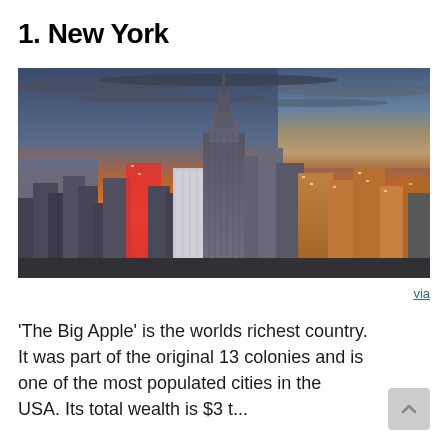1. New York
[Figure (photo): Aerial cityscape photo of New York City skyline at sunset/dusk, showing the Empire State Building prominently in the center, surrounded by skyscrapers, with dramatic orange and blue cloudy sky in the background.]
via
'The Big Apple' is the worlds richest country. It was part of the original 13 colonies and is one of the most populated cities in the USA. Its total wealth is $3 t...